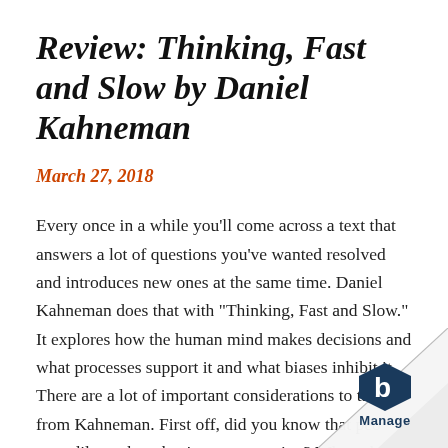Review: Thinking, Fast and Slow by Daniel Kahneman
March 27, 2018
Every once in a while you’ll come across a text that answers a lot of questions you’ve wanted resolved and introduces new ones at the same time. Daniel Kahneman does that with “Thinking, Fast and Slow.” It explores how the human mind makes decisions and what processes support it and what biases inhibit it. There are a lot of important considerations to tak from Kahneman. First off, did you know that peo eyes dilate when they’re concentrating? What a how self control requires deliberate thought and draws